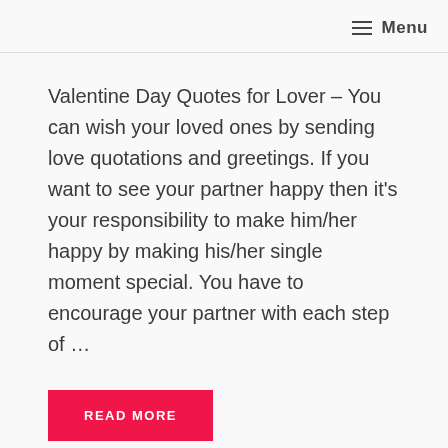≡ Menu
Valentine Day Quotes for Lover – You can wish your loved ones by sending love quotations and greetings. If you want to see your partner happy then it's your responsibility to make him/her happy by making his/her single moment special. You have to encourage your partner with each step of …
READ MORE